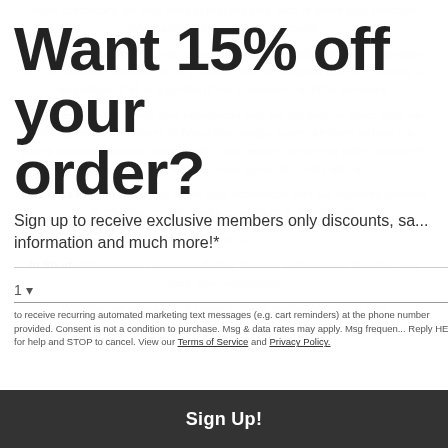more specifically, we may need to process your data or share your personal information in the following situations:
Business Transfers. We may share or transfer your information in connection with, or during negotiations of, any merger, sale of company assets, financing, or acquisition of all or a portion of our business to another company.
Affiliates. We may share your information with our affiliates, in which case we will require those affiliates to honor this privacy notice. Affiliates include our parent company and any subsidiaries, joint venture partners or other companies that we control or that are under common control with us.
Business Partners. We may share your information with our business partners to offer you certain products, services or promotions.
Want 15% off your order?
Sign up to receive exclusive members only discounts, sales, information and much more!*
1 ▾
to receive recurring automated marketing text messages (e.g. cart reminders) at the phone number provided. Consent is not a condition to purchase. Msg & data rates may apply. Msg frequency varies. Reply HELP for help and STOP to cancel. View our Terms of Service and Privacy Policy.
In Short: We may use cookies and other tracking technologies to collect and store your information.
We may use cookies and similar tracking technologies (like web beacons and pixels) to access or store information.
Sign Up!